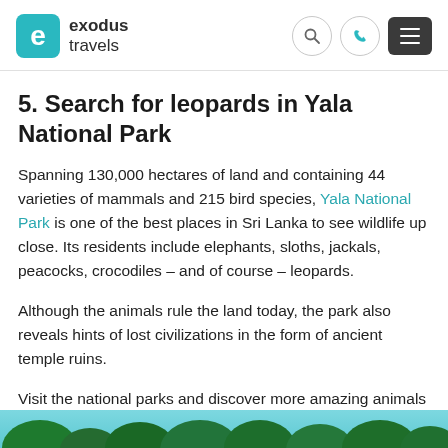exodus travels — navigation header with search, phone, and menu icons
5. Search for leopards in Yala National Park
Spanning 130,000 hectares of land and containing 44 varieties of mammals and 215 bird species, Yala National Park is one of the best places in Sri Lanka to see wildlife up close. Its residents include elephants, sloths, jackals, peacocks, crocodiles – and of course – leopards.
Although the animals rule the land today, the park also reveals hints of lost civilizations in the form of ancient temple ruins.
Visit the national parks and discover more amazing animals on our Wild Sri Lanka tour.
[Figure (photo): Tropical green foliage image strip at the bottom of the page]